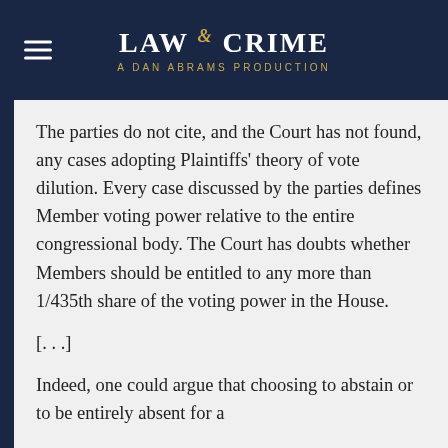LAW & CRIME — A DAN ABRAMS PRODUCTION
The parties do not cite, and the Court has not found, any cases adopting Plaintiffs' theory of vote dilution. Every case discussed by the parties defines Member voting power relative to the entire congressional body. The Court has doubts whether Members should be entitled to any more than 1/435th share of the voting power in the House.
[. . .]
Indeed, one could argue that choosing to abstain or to be entirely absent for a